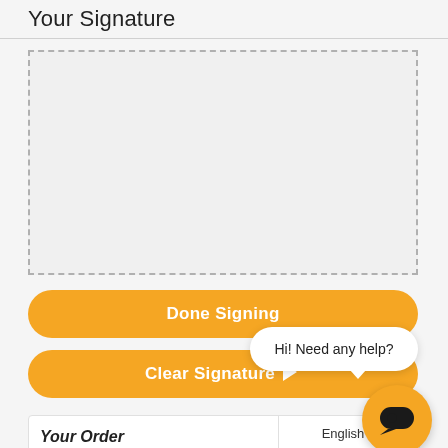Your Signature
[Figure (other): Empty dashed-border signature area for user to draw signature]
Done Signing
Hi! Need any help?
Clear Signature
English
Your Order